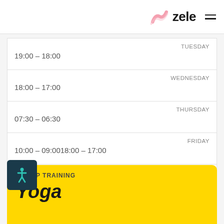zele
| Day | Time |
| --- | --- |
| TUESDAY | 19:00 – 18:00 |
| WEDNESDAY | 18:00 – 17:00 |
| THURSDAY | 07:30 – 06:30 |
| FRIDAY | 10:00 – 09:0018:00 – 17:00 |
| SATURDAY |  |
GROUP TRAINING
Yoga